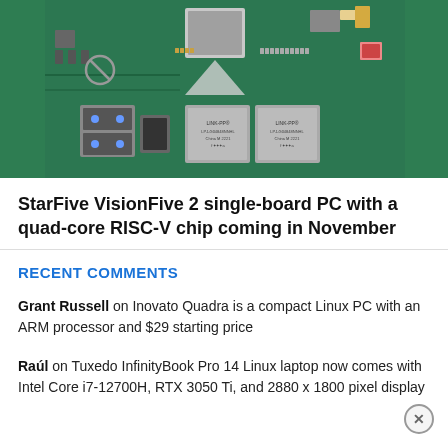[Figure (photo): Photo of StarFive VisionFive 2 single-board PC circuit board with USB ports, Ethernet jacks (LINK-PP branded), and various chips on a green PCB background]
StarFive VisionFive 2 single-board PC with a quad-core RISC-V chip coming in November
RECENT COMMENTS
Grant Russell on Inovato Quadra is a compact Linux PC with an ARM processor and $29 starting price
Raúl on Tuxedo InfinityBook Pro 14 Linux laptop now comes with Intel Core i7-12700H, RTX 3050 Ti, and 2880 x 1800 pixel display